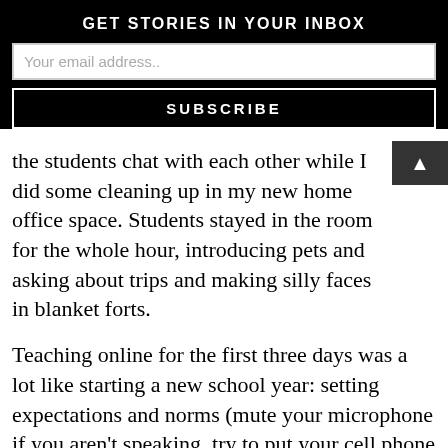GET STORIES IN YOUR INBOX
Your email address..
SUBSCRIBE
the students chat with each other while I did some cleaning up in my new home office space. Students stayed in the room for the whole hour, introducing pets and asking about trips and making silly faces in blanket forts.
Teaching online for the first three days was a lot like starting a new school year: setting expectations and norms (mute your microphone if you aren't speaking, try to put your cell phone on Do Not Disturb or leave it elsewhere in your home); sharing how I anticipated teaching lessons and providing materials; making clear I'm available to answer questions at any time; and troubleshooting technology issues as best as I